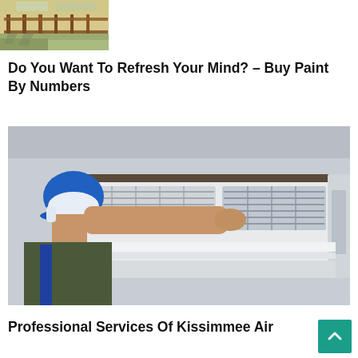[Figure (photo): Partial view of a paint-by-numbers artwork showing a fence and landscape with beige, green, and brown tones]
Do You Want To Refresh Your Mind? – Buy Paint By Numbers
[Figure (photo): A technician in a blue hard hat and dark clothing inspecting or servicing a wall-mounted air conditioning unit]
Professional Services Of Kissimmee Air